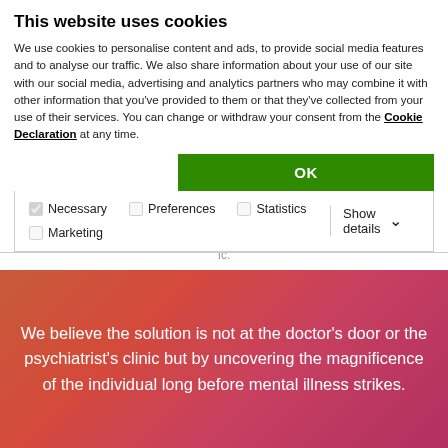This website uses cookies
We use cookies to personalise content and ads, to provide social media features and to analyse our traffic. We also share information about your use of our site with our social media, advertising and analytics partners who may combine it with other information that you've provided to them or that they've collected from your use of their services. You can change or withdraw your consent from the Cookie Declaration at any time.
| Options | Action |
| --- | --- |
| Necessary  Preferences  Statistics  Marketing | Show details |
We believe the solution is not at the doctor's door or the psychiatrist's clinic but by uncovering the magnificence of the individual long before mental illness strikes.